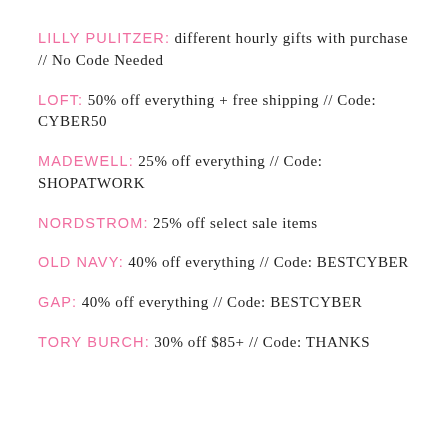LILLY PULITZER: different hourly gifts with purchase // No Code Needed
LOFT: 50% off everything + free shipping // Code: CYBER50
MADEWELL: 25% off everything // Code: SHOPATWORK
NORDSTROM: 25% off select sale items
OLD NAVY: 40% off everything // Code: BESTCYBER
GAP: 40% off everything // Code: BESTCYBER
TORY BURCH: 30% off $85+ // Code: THANKS